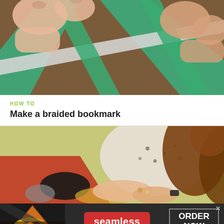[Figure (photo): Close-up photo of hands braiding/folding strips of green and white paper or material to make a bookmark]
HOW TO
Make a braided bookmark
[Figure (photo): A girl with long brown hair working on a craft project, braiding or knotting something with her hands]
[Figure (photo): Seamless food delivery advertisement banner with pizza images, Seamless logo in red, and ORDER NOW button]